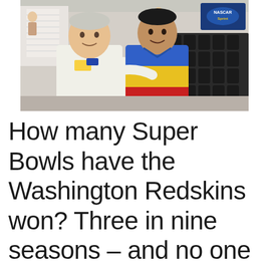[Figure (photo): Two men posing together indoors. Left man wears a white polo shirt with name tags/badges. Right man wears a colorful blue, yellow and red striped polo shirt. Background shows rows of empty black chairs and other people. A NASCAR Sprint logo banner is visible in the upper right.]
How many Super Bowls have the Washington Redskins won? Three in nine seasons – and no one remembers. Except me and Joe Gibbs